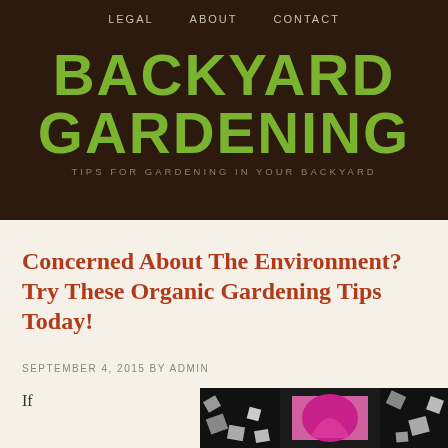LEGAL   ABOUT   CONTACT
BACKYARD GARDENING
TIPS FOR GARDENING IN YOUR BACKYARD
Concerned About The Environment? Try These Organic Gardening Tips Today!
SEPTEMBER 4, 2015 BY ADMIN
If
[Figure (photo): Dark background with scattered paper squares and a pink/magenta design in a black frame]